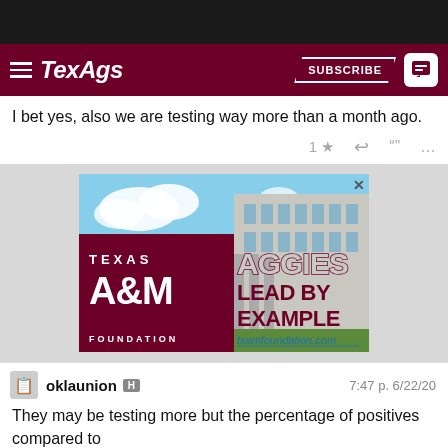[Figure (screenshot): TexAgs website navigation bar with hamburger menu, TexAgs logo in white italic, Subscribe button and chat icon on the right]
I bet yes, also we are testing way more than a month ago.
[Figure (illustration): Texas A&M Foundation advertisement showing building exterior with blue sky. Left side has maroon box with TEXAS A&M FOUNDATION text, right side shows AGGIES LEAD BY EXAMPLE and txamfoundation.com]
oklaunion H
7:47 p. 6/22/20
They may be testing more but the percentage of positives compared to